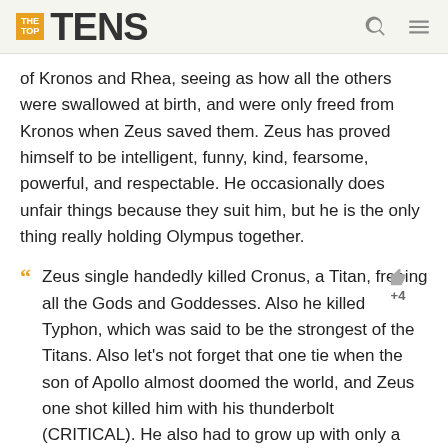THE TOP TENS
of Kronos and Rhea, seeing as how all the others were swallowed at birth, and were only freed from Kronos when Zeus saved them. Zeus has proved himself to be intelligent, funny, kind, fearsome, powerful, and respectable. He occasionally does unfair things because they suit him, but he is the only thing really holding Olympus together.
Zeus single handedly killed Cronus, a Titan, freeing all the Gods and Goddesses. Also he killed Typhon, which was said to be the strongest of the Titans. Also let's not forget that one tie when the son of Apollo almost doomed the world, and Zeus one shot killed him with his thunderbolt (CRITICAL). He also had to grow up with only a mother, whom wasn't battle trained. So he had to train himself. And I agree with all those people that said it should be Zeus instead of Poseidon. Poseidon (No offense) isn't that powerful of a god. And he technically can't control the water very well without having to hit the floor. Also Poseidon